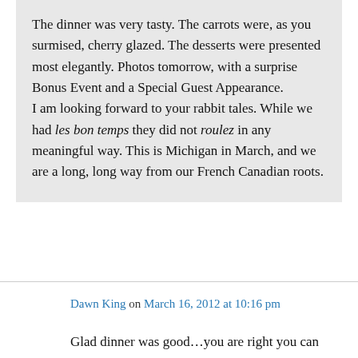The dinner was very tasty. The carrots were, as you surmised, cherry glazed. The desserts were presented most elegantly. Photos tomorrow, with a surprise Bonus Event and a Special Guest Appearance.

I am looking forward to your rabbit tales. While we had les bon temps they did not roulez in any meaningful way. This is Michigan in March, and we are a long, long way from our French Canadian roots.
Dawn King on March 16, 2012 at 10:16 pm
Glad dinner was good…you are right you can